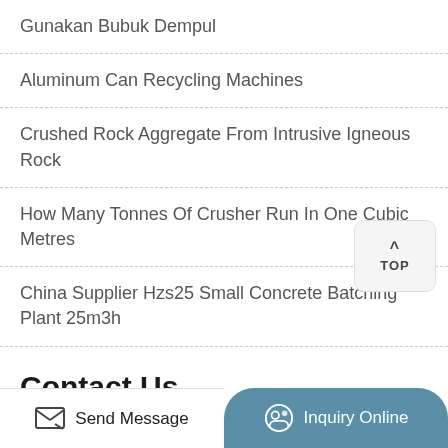Gunakan Bubuk Dempul
Aluminum Can Recycling Machines
Crushed Rock Aggregate From Intrusive Igneous Rock
How Many Tonnes Of Crusher Run In One Cubic Metres
China Supplier Hzs25 Small Concrete Batching Plant 25m3h
Contact Us
Our customer service team is here to help you 24/7. We can ship you parts, send field service
Send Message | Inquiry Online